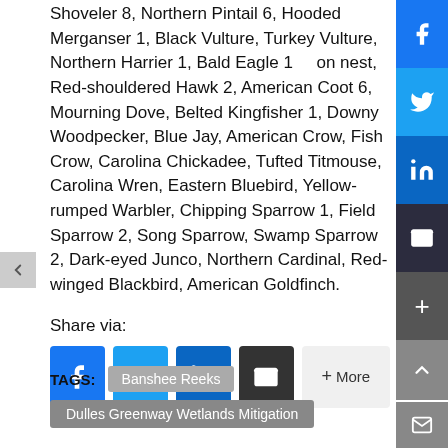Shoveler 8, Northern Pintail 6, Hooded Merganser 1, Black Vulture, Turkey Vulture, Northern Harrier 1, Bald Eagle 1    on nest, Red-shouldered Hawk 2, American Coot 6, Mourning Dove, Belted Kingfisher 1, Downy Woodpecker, Blue Jay, American Crow, Fish Crow, Carolina Chickadee, Tufted Titmouse, Carolina Wren, Eastern Bluebird, Yellow-rumped Warbler, Chipping Sparrow 1, Field Sparrow 2, Song Sparrow, Swamp Sparrow 2, Dark-eyed Junco, Northern Cardinal, Red-winged Blackbird, American Goldfinch.
Share via:
[Figure (other): Social share buttons: Facebook, Twitter, LinkedIn, Email, and More]
TAGS: Banshee Reeks, Dulles Greenway Wetlands Mitigation